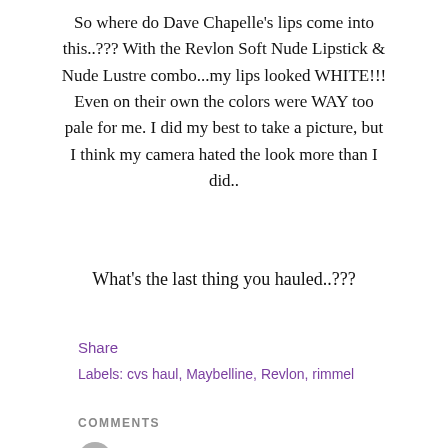So where do Dave Chapelle's lips come into this..??? With the Revlon Soft Nude Lipstick & Nude Lustre combo...my lips looked WHITE!!! Even on their own the colors were WAY too pale for me. I did my best to take a picture, but I think my camera hated the look more than I did..
What's the last thing you hauled..???
Share
Labels: cvs haul, Maybelline, Revlon, rimmel
COMMENTS
lisa   September 16, 2010 at 5:71 PM